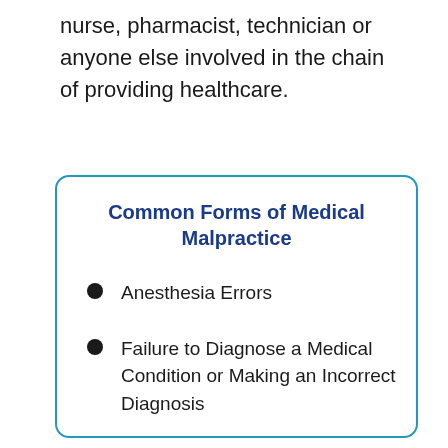nurse, pharmacist, technician or anyone else involved in the chain of providing healthcare.
Common Forms of Medical Malpractice
Anesthesia Errors
Failure to Diagnose a Medical Condition or Making an Incorrect Diagnosis